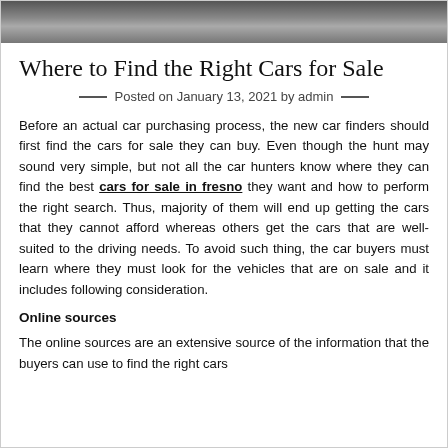[Figure (photo): Partial photo of cars at top of page, cropped at the bottom of the image strip]
Where to Find the Right Cars for Sale
Posted on January 13, 2021 by admin
Before an actual car purchasing process, the new car finders should first find the cars for sale they can buy. Even though the hunt may sound very simple, but not all the car hunters know where they can find the best cars for sale in fresno they want and how to perform the right search. Thus, majority of them will end up getting the cars that they cannot afford whereas others get the cars that are well-suited to the driving needs. To avoid such thing, the car buyers must learn where they must look for the vehicles that are on sale and it includes following consideration.
Online sources
The online sources are an extensive source of the information that the buyers can use to find the right cars